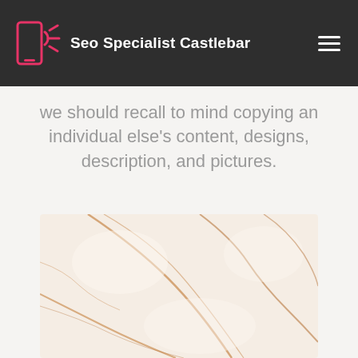Seo Specialist Castlebar
we should recall to mind copying an individual else's content, designs, description, and pictures.
[Figure (photo): Close-up photograph of white and cream marble texture with brown/rust-colored veining patterns running diagonally across the surface.]